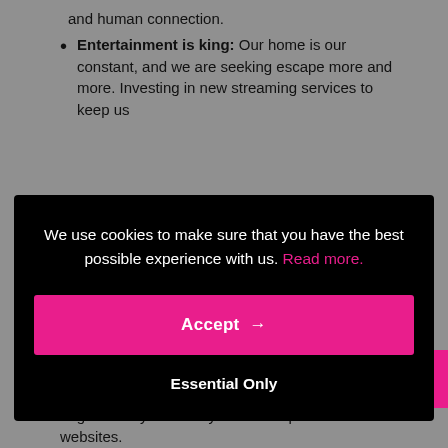and human connection.
Entertainment is king: Our home is our constant, and we are seeking escape more and more. Investing in new streaming services to keep us
We use cookies to make sure that you have the best possible experience with us. Read more.
Accept →
Essential Only
up 75.7% week-over-week as of March 29, and brands like Aromatherapy Associates have seen huge 233% year-over-year sales spike on their websites.